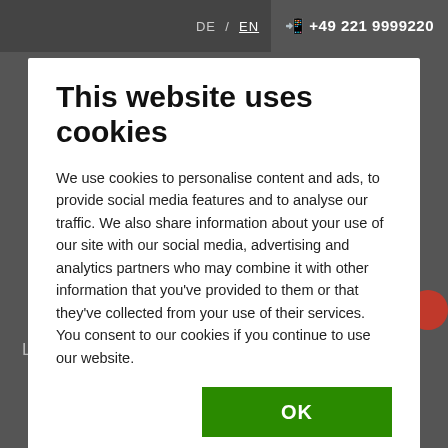DE / EN   +49 221 9999220
This website uses cookies
We use cookies to personalise content and ads, to provide social media features and to analyse our traffic. We also share information about your use of our site with our social media, advertising and analytics partners who may combine it with other information that you've provided to them or that they've collected from your use of their services. You consent to our cookies if you continue to use our website.
OK
Necessary  Preferences  Statistics  Marketing  Show details
Lawyers experienced in tax law can offer advice.